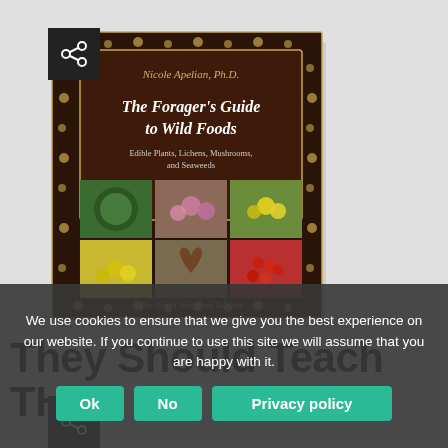[Figure (illustration): Book cover: 'The Forager's Guide to Wild Foods' by Nicole Apelian, Ph.D. Dark brown cover with gold botanical illustrations border. Center text box with book title in italic font. Subtitle: 'Edible Plants, Lichens, Mushrooms, and Seaweeds'. Six photo panels showing wild plants and foods. Bottom text: 'The North American Edition'. Share icon button in top-left corner.]
They Should Teach THIS
We use cookies to ensure that we give you the best experience on our website. If you continue to use this site we will assume that you are happy with it.